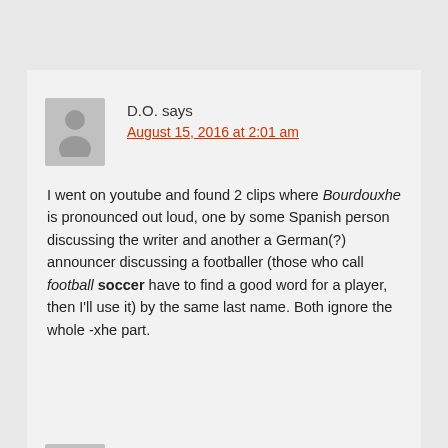D.O. says
August 15, 2016 at 2:01 am
I went on youtube and found 2 clips where Bourdouxhe is pronounced out loud, one by some Spanish person discussing the writer and another a German(?) announcer discussing a footballer (those who call football soccer have to find a good word for a player, then I'll use it) by the same last name. Both ignore the whole -xhe part.
Geraint Jennings says
August 15, 2016 at 3:42 am